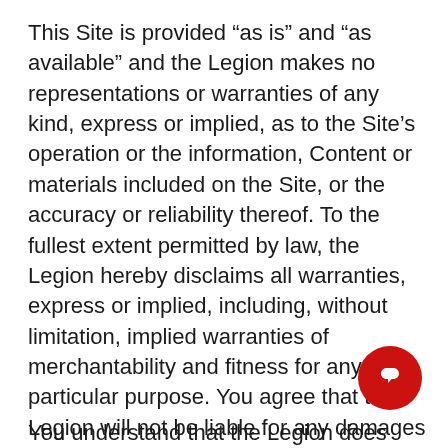This Site is provided “as is” and “as available” and the Legion makes no representations or warranties of any kind, express or implied, as to the Site’s operation or the information, Content or materials included on the Site, or the accuracy or reliability thereof. To the fullest extent permitted by law, the Legion hereby disclaims all warranties, express or implied, including, without limitation, implied warranties of merchantability and fitness for any particular purpose. You agree that the Legion will not be liable for any damages of any kind arising from the use of or inability to use the Site and you expressly agree that you use the Site solely at your own risk.
You understand that the Legion does
[Figure (illustration): Red circular chat/message button icon in the bottom right corner]